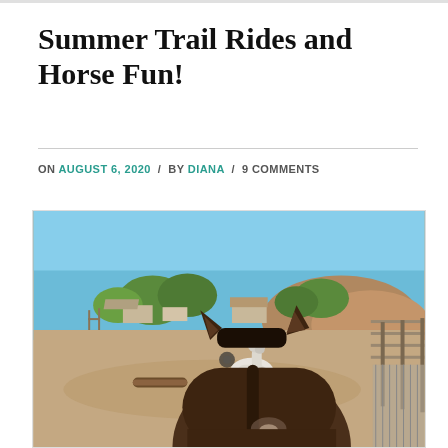Summer Trail Rides and Horse Fun!
ON AUGUST 6, 2020 / BY DIANA / 9 COMMENTS
[Figure (photo): Outdoor horse corral on a sunny day. A dark brown horse is seen from behind in the foreground with pointed ears. A white horse stands in the middle distance on sandy ground. Wooden fences, a log obstacle, trees, houses, and hills are visible in the background under a clear blue sky.]